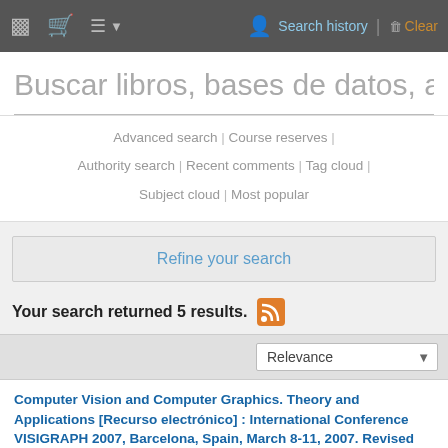Search history | Clear
Buscar libros, bases de datos, artíc
Advanced search | Course reserves | Authority search | Recent comments | Tag cloud | Subject cloud | Most popular
Refine your search
Your search returned 5 results.
Relevance
Computer Vision and Computer Graphics. Theory and Applications [Recurso electrónico] : International Conference VISIGRAPH 2007, Barcelona, Spain, March 8-11, 2007. Revised Selected Papers / edited by José Braz, Alpesh Ranchordas, Hélder J. Araújo, João Madeiras Pereira.